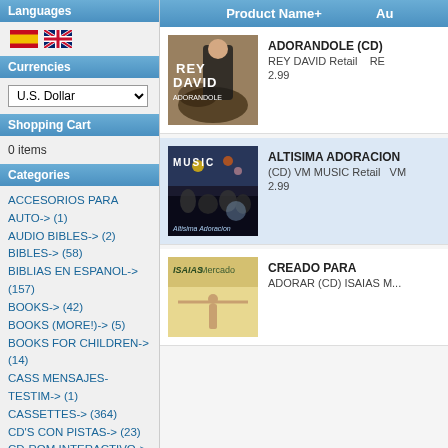Languages
[Figure (illustration): Spanish flag and UK flag icons]
Currencies
U.S. Dollar (dropdown)
Shopping Cart
0 items
Categories
ACCESORIOS PARA AUTO-> (1)
AUDIO BIBLES-> (2)
BIBLES-> (58)
BIBLIAS EN ESPANOL-> (157)
BOOKS-> (42)
BOOKS (MORE!)-> (5)
BOOKS FOR CHILDREN-> (14)
CASS MENSAJES-TESTIM-> (1)
CASSETTES-> (364)
CD'S CON PISTAS-> (23)
CD-ROM INTERACTIVO-> (10)
COVERS - FORROS-> (49)
Product Name+   Au
[Figure (photo): Rey David Adorandole CD cover - man in suit against decorative background]
ADORANDOLE (CD)
REY DAVID Retail   RE
2.99
[Figure (photo): Altisima Adoracion CD cover - concert crowd scene with MUSIC text]
ALTISIMA ADORACION (CD) VM MUSIC Retail   VM
2.99
[Figure (photo): Creado Para Adorar CD cover - Isaias Mercado, figure with arms spread]
CREADO PARA ADORAR (CD) ISAIAS M...